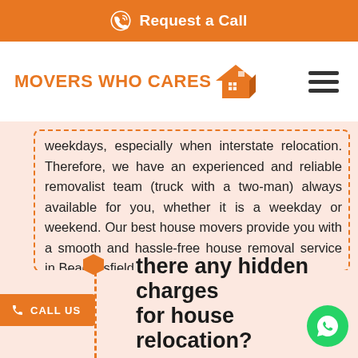Request a Call
[Figure (logo): Movers Who Cares logo with orange house icon and orange text]
weekdays, especially when interstate relocation. Therefore, we have an experienced and reliable removalist team (truck with a two-man) always available for you, whether it is a weekday or weekend. Our best house movers provide you with a smooth and hassle-free house removal service in Beaconsfield.
there any hidden charges for house relocation?